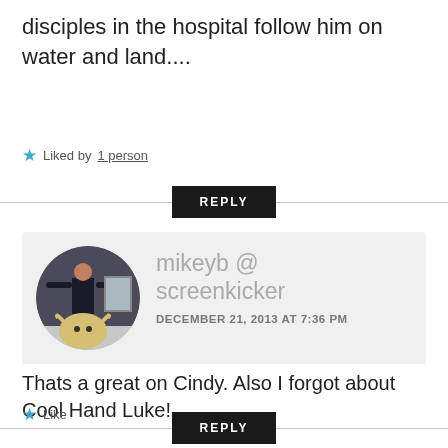disciples in the hospital follow him on water and land....
★ Liked by 1 person
REPLY
[Figure (photo): Circular avatar photo of a person standing with arms out next to a bull/cow taxidermy mount]
mikeyb @ screenkicker
DECEMBER 21, 2013 AT 7:36 PM
Thats a great on Cindy. Also I forgot about Cool Hand Luke!
★ Like
REPLY